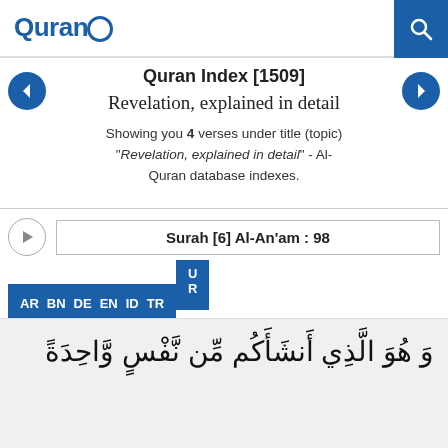QuranO
Quran Index [1509]
Revelation, explained in detail
Showing you 4 verses under title (topic) "Revelation, explained in detail" - Al-Quran database indexes.
Surah [6] Al-An'am : 98
AR BN DE EN ID TR U
وَ هُوَ الَّذِي أَنشَأَكُم مِّن نَّفْسٍ وَاحِدَةً